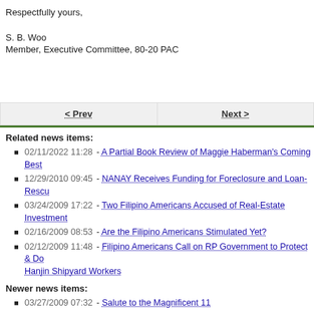Respectfully yours,
S. B. Woo
Member, Executive Committee, 80-20 PAC
Related news items:
02/11/2022 11:28 - A Partial Book Review of Maggie Haberman's Coming Best
12/29/2010 09:45 - NANAY Receives Funding for Foreclosure and Loan-Rescue
03/24/2009 17:22 - Two Filipino Americans Accused of Real-Estate Investment
02/16/2009 08:53 - Are the Filipino Americans Stimulated Yet?
02/12/2009 11:48 - Filipino Americans Call on RP Government to Protect & Do... Hanjin Shipyard Workers
Newer news items:
03/27/2009 07:32 - Salute to the Magnificent 11
02/26/2009 07:06 - Exciting News on Governor Locke's and Rep. Solis' Appoint
02/23/2009 15:10 - A Report on the Latest 80-20 Activities and Announcements
07/04/2008 09:29 - On the July 4th Blessings of Liberty